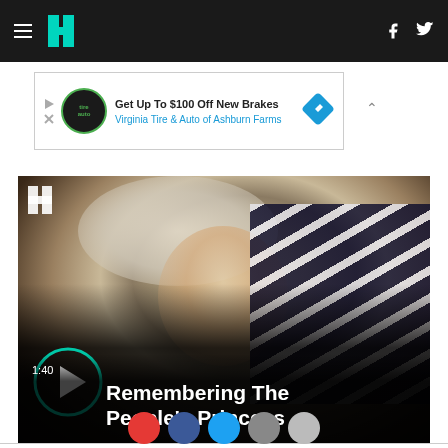HuffPost navigation bar with hamburger menu, logo, Facebook and Twitter icons
[Figure (screenshot): Advertisement banner: 'Get Up To $100 Off New Brakes - Virginia Tire & Auto of Ashburn Farms' with tire auto logo and blue diamond arrow icon]
[Figure (photo): Video thumbnail showing Princess Diana smiling, wearing a white hat and striped outfit. Play button overlay with duration 1:40 and title 'Remembering The People's Princess']
1:40
Remembering The People's Princess